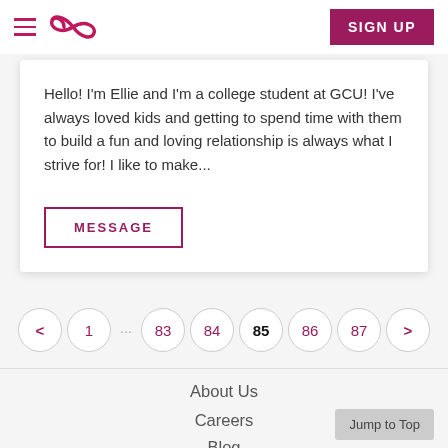Navigation bar with hamburger menu, logo, and SIGN UP button
Hello! I'm Ellie and I'm a college student at GCU! I've always loved kids and getting to spend time with them to build a fun and loving relationship is always what I strive for! I like to make...
MESSAGE button
Pagination: < 1 ... 83 84 85 86 87 >
About Us  Careers  Blog  Jump to Top